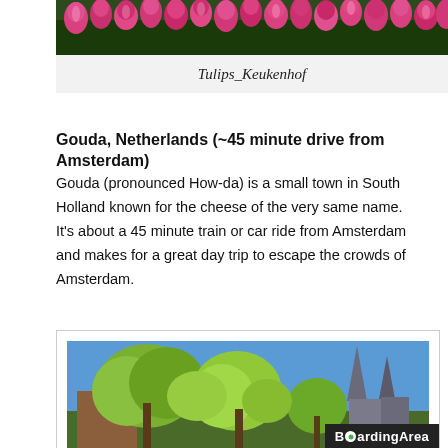[Figure (photo): Pink tulips at Keukenhof, close-up view of tulip flowers with green foliage]
Tulips_Keukenhof
Gouda, Netherlands (~45 minute drive from Amsterdam)
Gouda (pronounced How-da) is a small town in South Holland known for the cheese of the very same name.  It's about a 45 minute train or car ride from Amsterdam and makes for a great day trip to escape the crowds of Amsterdam.
[Figure (photo): Gouda town scene with trees in spring foliage, historic buildings and church spires visible against blue sky. BoardingArea watermark in bottom right.]